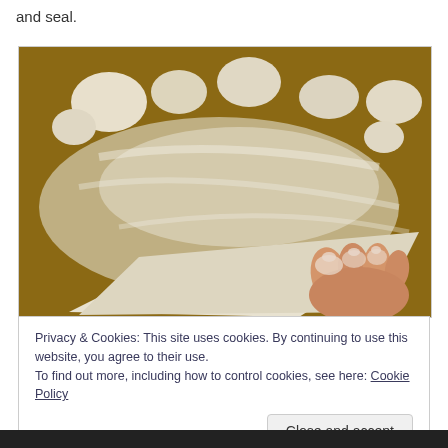and seal.
[Figure (photo): A hand covered in flour pressing and sealing a triangular piece of dough on a floured wooden surface, with several other pieces of dough visible in the background.]
Privacy & Cookies: This site uses cookies. By continuing to use this website, you agree to their use.
To find out more, including how to control cookies, see here: Cookie Policy
Close and accept